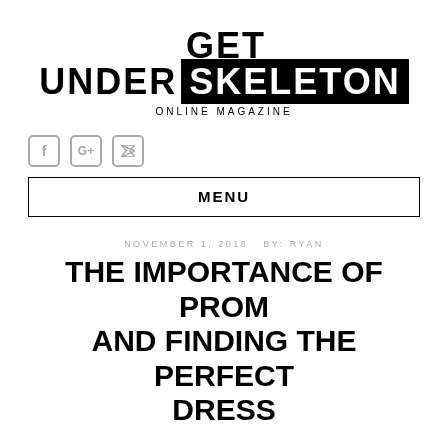GET UNDER SKELETON ONLINE MAGAZINE
[Figure (other): Social media icons: Facebook, Google+, Twitter]
MENU
NOVEMBER 1, 2018 BY: RYAN
THE IMPORTANCE OF PROM AND FINDING THE PERFECT DRESS
High school is where kids first learn to master